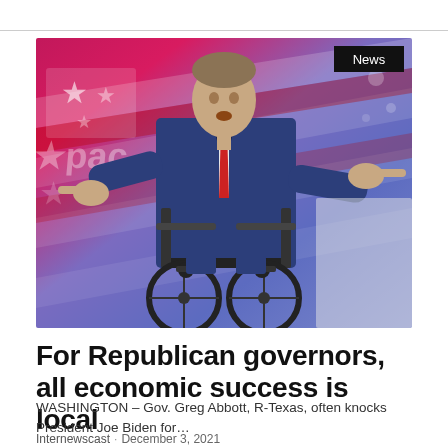[Figure (photo): Man in a dark blue suit seated in a wheelchair on a stage, pointing with both hands toward the camera. Background features a colorful CPAC-style stage with pink, blue, and white diagonal stripes and star motifs. A 'News' badge appears in the top-right corner of the image.]
For Republican governors, all economic success is local
WASHINGTON – Gov. Greg Abbott, R-Texas, often knocks President Joe Biden for…
Internewscast · December 3, 2021